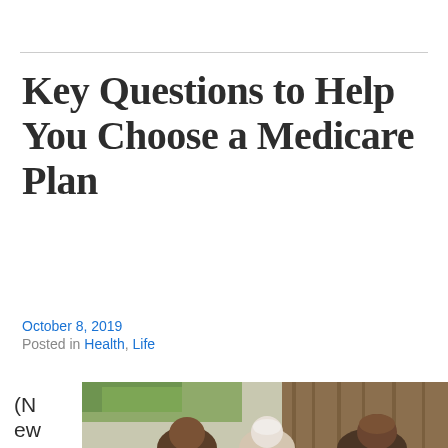Key Questions to Help You Choose a Medicare Plan
October 8, 2019
Posted in Health, Life
(NewsU
[Figure (photo): Photograph of elderly people in conversation, including a man and woman, outdoors with greenery in background]